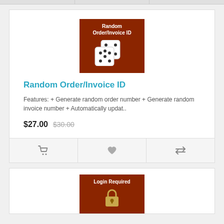[Figure (illustration): Product card image for 'Random Order/Invoice ID' showing two white dice on a dark brown/red background]
Random Order/Invoice ID
Features: + Generate random order number + Generate random invoice number + Automatically updat..
$27.00  $30.00
[Figure (illustration): Product card image for 'Login Required' showing a padlock on a dark brown/red background]